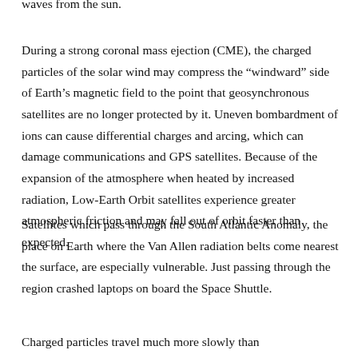waves from the sun.
During a strong coronal mass ejection (CME), the charged particles of the solar wind may compress the “windward” side of Earth’s magnetic field to the point that geosynchronous satellites are no longer protected by it. Uneven bombardment of ions can cause differential charges and arcing, which can damage communications and GPS satellites. Because of the expansion of the atmosphere when heated by increased radiation, Low-Earth Orbit satellites experience greater atmospheric friction and may fall out of orbit faster than expected.
Satellites which pass through the South Atlantic Anomaly, the place on Earth where the Van Allen radiation belts come nearest the surface, are especially vulnerable. Just passing through the region crashed laptops on board the Space Shuttle.
Charged particles travel much more slowly than electromagnetic radiation, so astronauts on board the International Space Station have enough time to take cover in a shielded area after a CME has been observed. Even so, an astronaut doing extra-vehicular activity